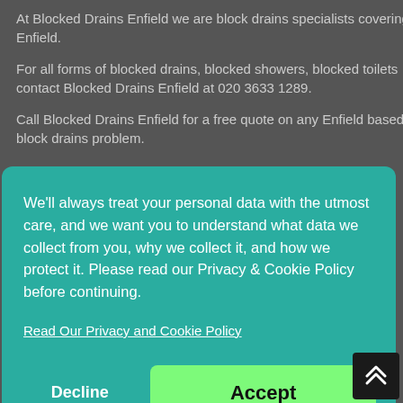At Blocked Drains Enfield we are block drains specialists covering Enfield.
For all forms of blocked drains, blocked showers, blocked toilets contact Blocked Drains Enfield at 020 3633 1289.
Call Blocked Drains Enfield for a free quote on any Enfield based block drains problem.
We'll always treat your personal data with the utmost care, and we want you to understand what data we collect from you, why we collect it, and how we protect it. Please read our Privacy & Cookie Policy before continuing.
Read Our Privacy and Cookie Policy
Decline
Accept